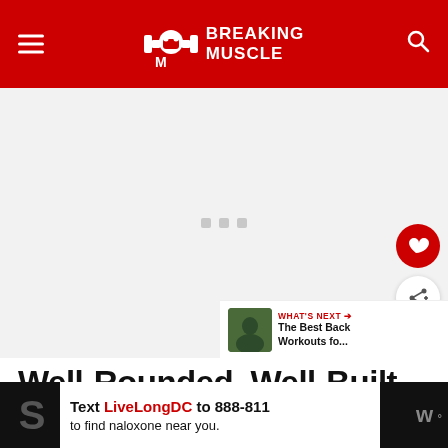Breaking Muscle
[Figure (photo): Loading placeholder for article hero image — light gray background with three small gray squares indicating loading state]
[Figure (photo): What's Next thumbnail — small dark green photo of athletic person]
Well-Rounded, Well-Built
[Figure (screenshot): Advertisement banner: Text LiveLongDC to 888-811 to find naloxone near you. DBH logo visible.]